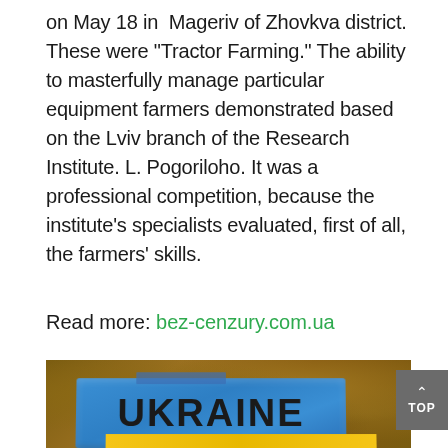on May 18 in Mageriv of Zhovkva district. These were "Tractor Farming." The ability to masterfully manage particular equipment farmers demonstrated based on the Lviv branch of the Research Institute. L. Pogoriloho. It was a professional competition, because the institute's specialists evaluated, first of all, the farmers' skills.
Read more: bez-cenzury.com.ua
[Figure (photo): Photo of a blue banner/sign with the word UKRAINE written in large black letters, with a yellow stripe at the bottom, held up against a blurred tree background. A grey 'TOP' button with an up arrow is visible on the right side.]